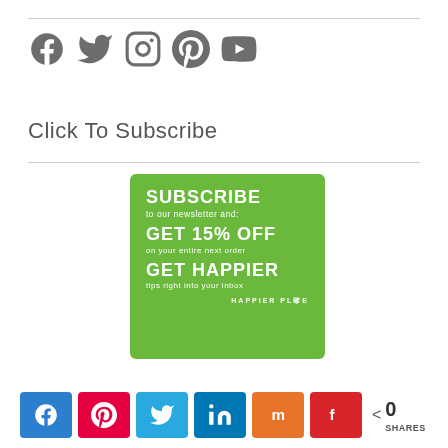[Figure (infographic): Social media icons: Facebook, Twitter, Instagram, Pinterest, YouTube in dark gray]
Click To Subscribe
[Figure (infographic): Green subscription box: SUBSCRIBE to our newsletter and: GET 15% OFF on your entire next order GET HAPPIER tips right into your inbox. HAPPIER PLACE branding at bottom right.]
[Figure (infographic): Social share bar with buttons: Facebook (blue), Pinterest (red), Twitter (light blue), LinkedIn (dark blue), Mix (orange), Flipboard (red). Share count: 0 SHARES.]